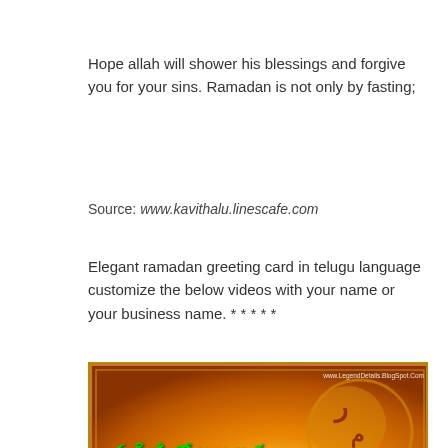Hope allah will shower his blessings and forgive you for your sins. Ramadan is not only by fasting;
Source: www.kavithalu.linescafe.com
Elegant ramadan greeting card in telugu language customize the below videos with your name or your business name. * * * * *
[Figure (photo): Ramadan greeting card with golden/orange gradient background, Telugu text in green bold font reading 'Muslim Sodarulanu...' and white bold Telugu text reading 'Ramzan Shubhakankshalu', with Arabic calligraphy crescent moon design on the right, and a watermark URL www.LegendDetails.BlogSpot.com]